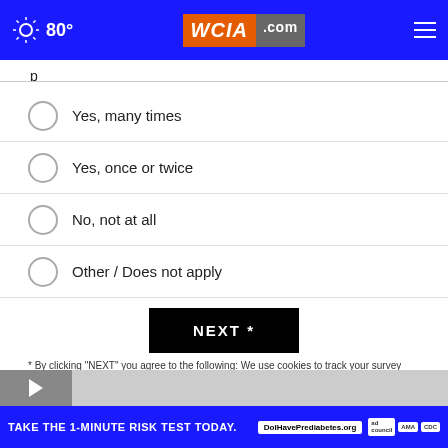80° WCIA.com
p (partial question text cut off)
Yes, many times
Yes, once or twice
No, not at all
Other / Does not apply
NEXT *
* By clicking "NEXT" you agree to the following: We use cookies to track your survey answers. If you would like to continue with this survey, please read and agree to the CivicScience Privacy Policy and Terms of Service
TOP STORIES >
[Figure (screenshot): Video thumbnail with play button]
TAKE THE 1-MINUTE RISK TEST TODAY. DolHavePrediabetes.org